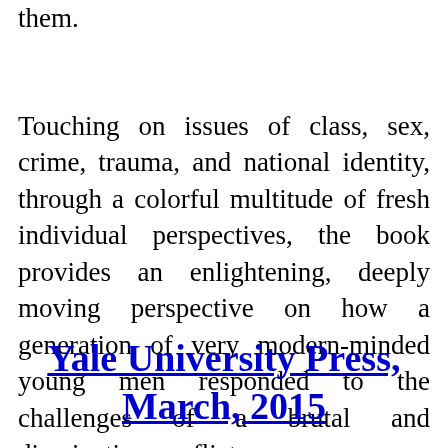them.
Touching on issues of class, sex, crime, trauma, and national identity, through a colorful multitude of fresh individual perspectives, the book provides an enlightening, deeply moving perspective on how a generation of very modern-minded young men responded to the challenges of a brutal and disorienting conflict.
Yale University Press, March, 2015